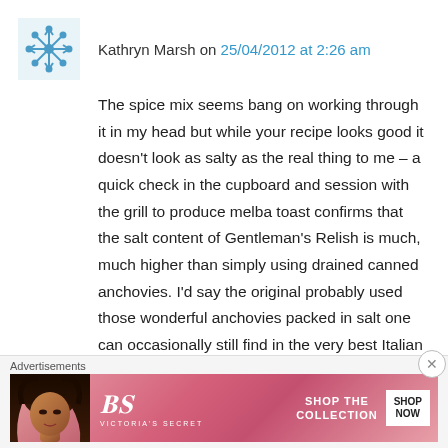Kathryn Marsh on 25/04/2012 at 2:26 am
The spice mix seems bang on working through it in my head but while your recipe looks good it doesn't look as salty as the real thing to me – a quick check in the cupboard and session with the grill to produce melba toast confirms that the salt content of Gentleman's Relish is much, much higher than simply using drained canned anchovies. I'd say the original probably used those wonderful anchovies packed in salt one can occasionally still find in the very best Italian grocers and can only use in tiny amounts – I
Advertisements
[Figure (photo): Victoria's Secret advertisement banner with model, VS logo, 'SHOP THE COLLECTION' text, and 'SHOP NOW' button]